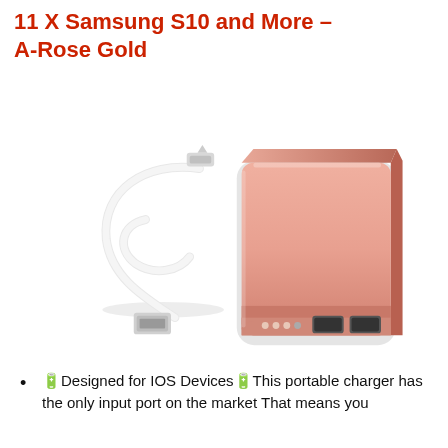11 X Samsung S10 and More – A-Rose Gold
[Figure (photo): A rose gold rectangular portable battery bank / power bank with two USB output ports and a power indicator, shown alongside a white USB to Lightning cable coiled beside it, on a white background.]
🔋Designed for IOS Devices🔋This portable charger has the only input port on the market That means you